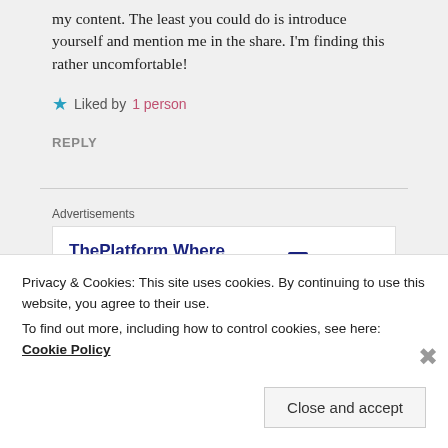my content. The least you could do is introduce yourself and mention me in the share. I'm finding this rather uncomfortable!
★ Liked by 1 person
REPLY
Advertisements
ThePlatform Where WordPress Works Best — Pressable
Privacy & Cookies: This site uses cookies. By continuing to use this website, you agree to their use.
To find out more, including how to control cookies, see here: Cookie Policy
Close and accept